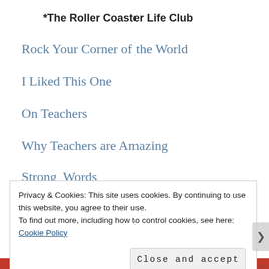*The Roller Coaster Life Club
Rock Your Corner of the World
I Liked This One
On Teachers
Why Teachers are Amazing
Strong  Words
Privacy & Cookies: This site uses cookies. By continuing to use this website, you agree to their use.
To find out more, including how to control cookies, see here: Cookie Policy
Close and accept